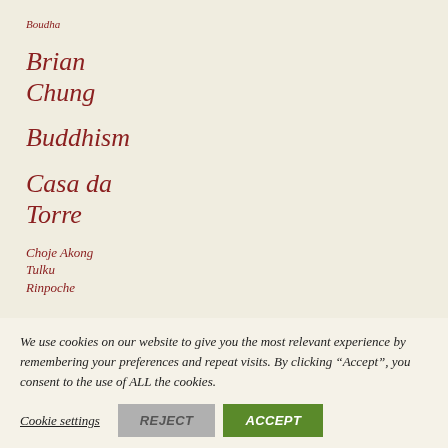Boudha
Brian Chung
Buddhism
Casa da Torre
Choje Akong Tulku Rinpoche
Dr Gwen Enstam
Elizabeth Mattis
We use cookies on our website to give you the most relevant experience by remembering your preferences and repeat visits. By clicking “Accept”, you consent to the use of ALL the cookies.
Cookie settings  REJECT  ACCEPT